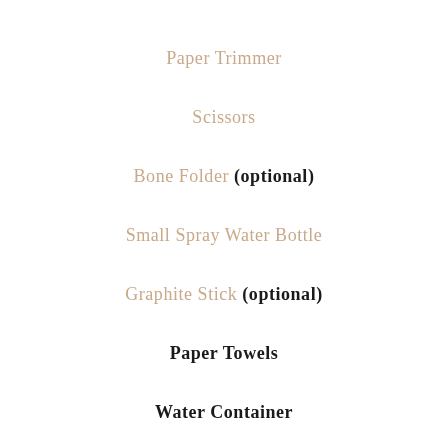Paper Trimmer
Scissors
Bone Folder (optional)
Small Spray Water Bottle
Graphite Stick (optional)
Paper Towels
Water Container